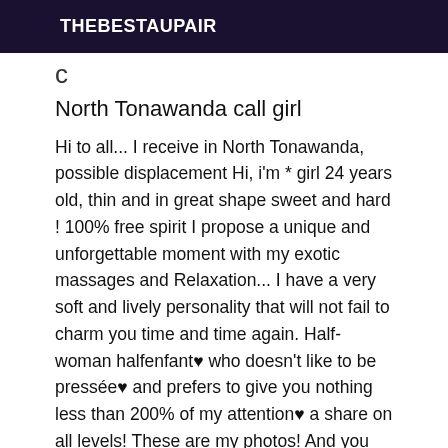THEBESTAUPAIR
North Tonawanda call girl
Hi to all... I receive in North Tonawanda, possible displacement Hi, i'm * girl 24 years old, thin and in great shape sweet and hard ! 100% free spirit I propose a unique and unforgettable moment with my exotic massages and Relaxation... I have a very soft and lively personality that will not fail to charm you time and time again. Half-woman halfenfant♥ who doesn't like to be pressée♥ and prefers to give you nothing less than 200% of my attention♥ a share on all levels! These are my photos! And you won't be disappointed! suspense will be the foretaste of our meeting. I can only tell you one thing, my skin is soft as honey and it's up to you to come and discover the rest of my hidden charms....... I receive at home in all discretion ... Appointment minimum 30M or 1H in advance. Incall: 120